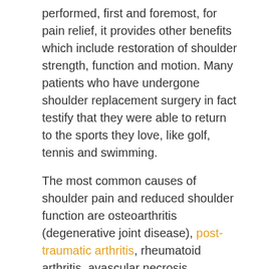performed, first and foremost, for pain relief, it provides other benefits which include restoration of shoulder strength, function and motion. Many patients who have undergone shoulder replacement surgery in fact testify that they were able to return to the sports they love, like golf, tennis and swimming.
The most common causes of shoulder pain and reduced shoulder function are osteoarthritis (degenerative joint disease), post-traumatic arthritis, rheumatoid arthritis, avascular necrosis